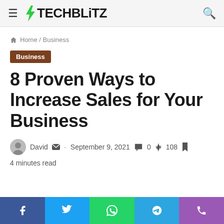TECHBLiTZ
Home / Business
Business
8 Proven Ways to Increase Sales for Your Business
David · September 9, 2021 · 0 · 108 · 4 minutes read